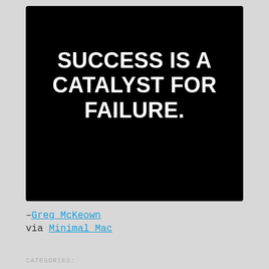[Figure (illustration): Black background image with large white bold uppercase text reading: SUCCESS IS A CATALYST FOR FAILURE.]
–Greg McKeown via Minimal Mac
CATEGORIES: